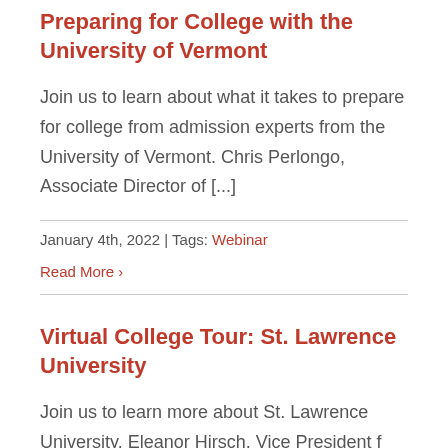Preparing for College with the University of Vermont
Join us to learn about what it takes to prepare for college from admission experts from the University of Vermont. Chris Perlongo, Associate Director of [...]
January 4th, 2022 | Tags: Webinar
Read More ›
Virtual College Tour: St. Lawrence University
Join us to learn more about St. Lawrence University. Eleanor Hirsch, Vice President for